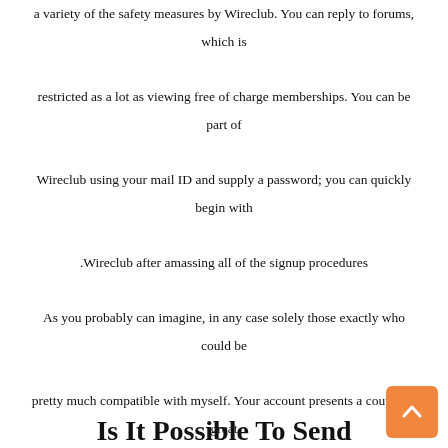a variety of the safety measures by Wireclub. You can reply to forums, which is restricted as a lot as viewing free of charge memberships. You can be part of Wireclub using your mail ID and supply a password; you can quickly begin with Wireclub after amassing all of the signup procedures. As you probably can imagine, in any case solely those exactly who could be pretty much compatible with myself. Your account presents a couple of great footage, however would be 100per cent straightforward about my favorite anticipations. I had been maybe not selecting willpower, however I had been prepared for new encounters and feelings. I by no means ever easy over our magnificence, living, and character.
Is It Possible To Send